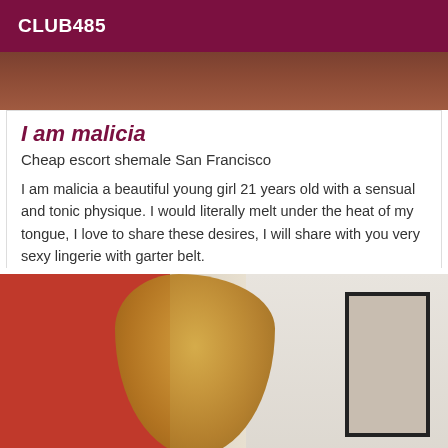CLUB485
[Figure (photo): Top portion of a photo, brown/reddish background, partially visible]
I am malicia
Cheap escort shemale San Francisco
I am malicia a beautiful young girl 21 years old with a sensual and tonic physique. I would literally melt under the heat of my tongue, I love to share these desires, I will share with you very sexy lingerie with garter belt.
[Figure (photo): Photo of a blonde woman seen from behind, wearing black, standing near a red wall with a mirror frame visible on the right]